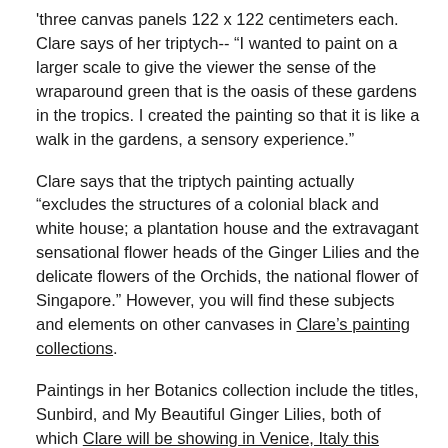'three canvas panels 122 x 122 centimeters each. Clare says of her triptych-- “I wanted to paint on a larger scale to give the viewer the sense of the wraparound green that is the oasis of these gardens in the tropics. I created the painting so that it is like a walk in the gardens, a sensory experience.”
Clare says that the triptych painting actually “excludes the structures of a colonial black and white house; a plantation house and the extravagant sensational flower heads of the Ginger Lilies and the delicate flowers of the Orchids, the national flower of Singapore.” However, you will find these subjects and elements on other canvases in Clare’s painting collections.
Paintings in her Botanics collection include the titles, Sunbird, and My Beautiful Ginger Lilies, both of which Clare will be showing in Venice, Italy this summer, 2015.
In addition, Clare’s painting, Tropical Heat of the Ginger Lily Garden, was purchased by one of her Singapore collectors